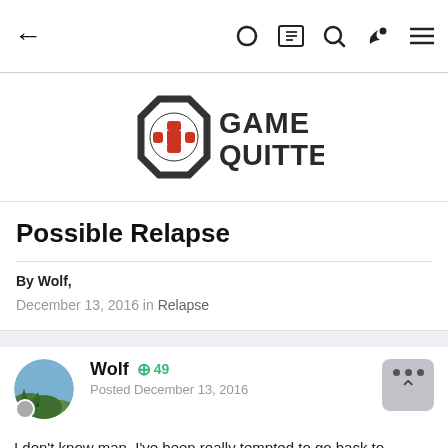← (back) | (dark mode) (reader view) (search) (brush) (menu)
[Figure (logo): Game Quitters logo — octagon outline with red cross/plus controller icon, bold dark text GAME QUITTERS]
Possible Relapse
By Wolf,
December 13, 2016 in Relapse
[Figure (photo): User avatar of Wolf — circular photo showing a landscape with trees/hills]
Wolf  +49
Posted December 13, 2016
I don't know man. I've been really tempted to go back to gaming, if not at least moderately. I don't know what words to put to this, but all I know is i feel like playing games. That's all.